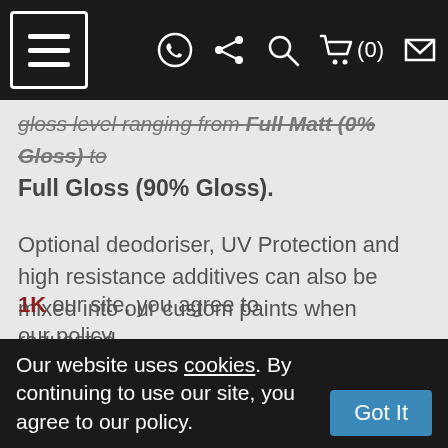[Navigation bar with menu, WhatsApp, share, search, cart (0), and envelope icons]
gloss level ranging from Full Matt (0% Gloss) to Full Gloss (90% Gloss).
Optional deodoriser, UV Protection and high resistance additives can also be mixed into our custom paints when requested.
RAL 230 60 15 Paint aerosols come with a unique vari-nozzle with a wide and narrow operation switch which delivers HVLP style Atomisation, minimal overspray and constant pressure.
Please note 2K paints are only avilabe as Acrylic Enamel.
1K our site, you agree to our policy.
Our website uses cookies. By continuing to use our site, you agree to our policy. Got It